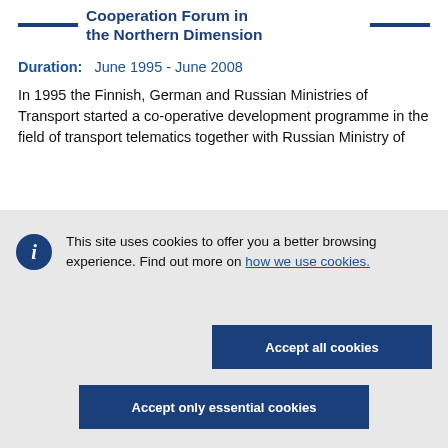Cooperation Forum in the Northern Dimension
Duration: June 1995 - June 2008
In 1995 the Finnish, German and Russian Ministries of Transport started a co-operative development programme in the field of transport telematics together with Russian Ministry of
This site uses cookies to offer you a better browsing experience. Find out more on how we use cookies.
Accept all cookies
Accept only essential cookies